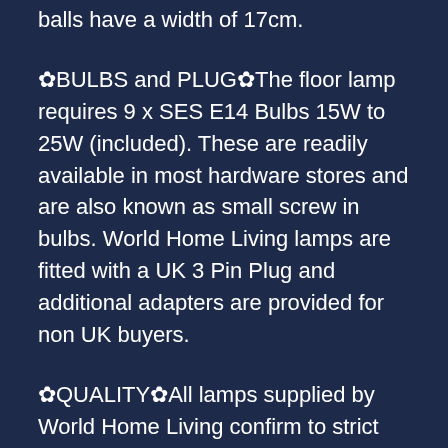balls have a width of 17cm.
✿BULBS and PLUG✿The floor lamp requires 9 x SES E14 Bulbs 15W to 25W (included). These are readily available in most hardware stores and are also known as small screw in bulbs. World Home Living lamps are fitted with a UK 3 Pin Plug and additional adapters are provided for non UK buyers.
✿QUALITY✿All lamps supplied by World Home Living confirm to strict CE standards and are approved by British assurance company Intertek. We take customer safety seriously and will not compromise on this. Similar lamps that are cheaper or bought in Turkey